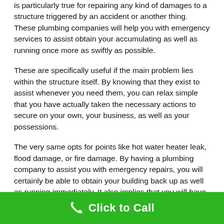is particularly true for repairing any kind of damages to a structure triggered by an accident or another thing. These plumbing companies will help you with emergency services to assist obtain your accumulating as well as running once more as swiftly as possible.
These are specifically useful if the main problem lies within the structure itself. By knowing that they exist to assist whenever you need them, you can relax simple that you have actually taken the necessary actions to secure on your own, your business, as well as your possessions.
The very same opts for points like hot water heater leak, flood damage, or fire damage. By having a plumbing company to assist you with emergency repairs, you will certainly be able to obtain your building back up as well as running immediately. It also implies that you will have
Click to Call